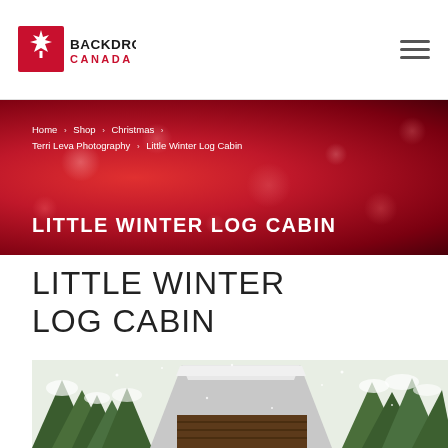[Figure (logo): Backdrops Canada logo — red maple leaf icon with 'BACKDROPS CANADA' text]
[Figure (other): Hamburger / navigation menu icon (three horizontal lines)]
Home › Shop › Christmas › Terri Leva Photography › Little Winter Log Cabin
LITTLE WINTER LOG CABIN
LITTLE WINTER LOG CABIN
[Figure (photo): Photo of a snow-covered log cabin with snowy pine trees in the background, snowflakes falling]